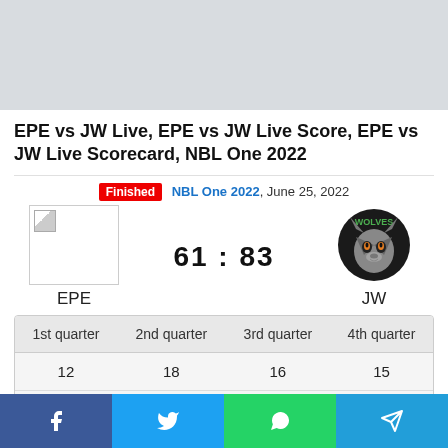[Figure (other): Gray advertisement banner at top of page]
EPE vs JW Live, EPE vs JW Live Score, EPE vs JW Live Scorecard, NBL One 2022
Finished  NBL One 2022, June 25, 2022
[Figure (infographic): Match scoreboard showing EPE logo vs JW Wolves logo with score 61 : 83]
| 1st quarter | 2nd quarter | 3rd quarter | 4th quarter |
| --- | --- | --- | --- |
| 12 | 18 | 16 | 15 |
| 22 | 22 | 22 | 17 |
[Figure (infographic): Social media sharing buttons: Facebook, Twitter, WhatsApp, Telegram]